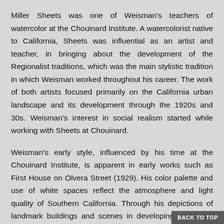Miller Sheets was one of Weisman's teachers of watercolor at the Chouinard Institute. A watercolorist native to California, Sheets was influential as an artist and teacher, in bringing about the development of the Regionalist traditions, which was the main stylistic tradition in which Weisman worked throughout his career. The work of both artists focused primarily on the California urban landscape and its development through the 1920s and 30s. Weisman's interest in social realism started while working with Sheets at Chouinard.
Weisman's early style, influenced by his time at the Chouinard Institute, is apparent in early works such as First House on Olvera Street (1929). His color palette and use of white spaces reflect the atmosphere and light quality of Southern California. Through his depictions of landmark buildings and scenes in developing California, Weisman was successful in documenting a transitional point in California's history. His first exhibition was at the Los Angeles County Fair in 1929 near the end of his studies at Chouinard. His work at this time centered on a light palette, and scenes early stages of development
BACK TO TOP